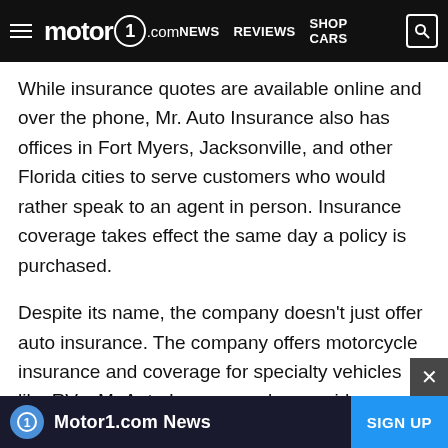motor1.com — NEWS  REVIEWS  SHOP CARS
While insurance quotes are available online and over the phone, Mr. Auto Insurance also has offices in Fort Myers, Jacksonville, and other Florida cities to serve customers who would rather speak to an agent in person. Insurance coverage takes effect the same day a policy is purchased.
Despite its name, the company doesn't just offer auto insurance. The company offers motorcycle insurance and coverage for specialty vehicles like RVs. Mr Auto Insurance also provides residential coverage for renters, homeowners, and condo owners. You can also get small business insurance products for your business like general liability coverage.
Mr. Auto Insurance works with over 20 insurance
Motor1.com News  SIGN UP